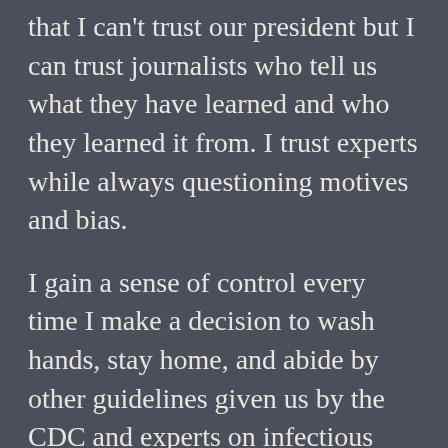that I can't trust our president but I can trust journalists who tell us what they have learned and who they learned it from. I trust experts while always questioning motives and bias.
I gain a sense of control every time I make a decision to wash hands, stay home, and abide by other guidelines given us by the CDC and experts on infectious deceases and pandemics. I